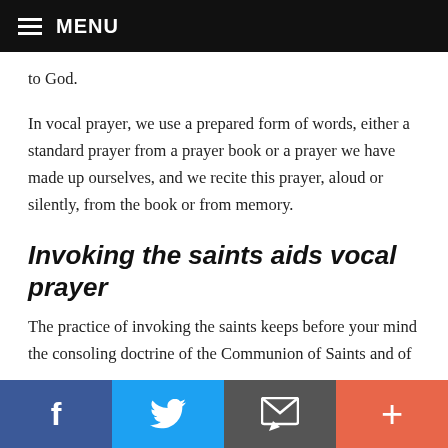MENU
to God.
In vocal prayer, we use a prepared form of words, either a standard prayer from a prayer book or a prayer we have made up ourselves, and we recite this prayer, aloud or silently, from the book or from memory.
Invoking the saints aids vocal prayer
The practice of invoking the saints keeps before your mind the consoling doctrine of the Communion of Saints and of